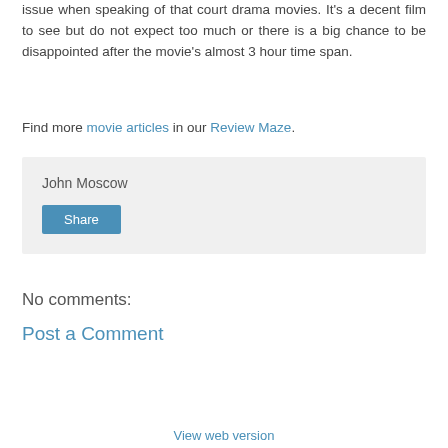issue when speaking of that court drama movies. It's a decent film to see but do not expect too much or there is a big chance to be disappointed after the movie's almost 3 hour time span.
Find more movie articles in our Review Maze.
John Moscow
Share
No comments:
Post a Comment
‹
Home
›
View web version
Powered by Blogger.